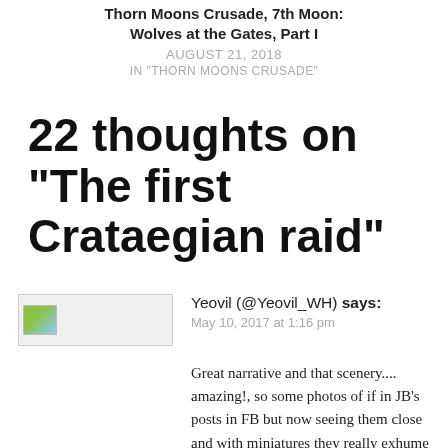Thorn Moons Crusade, 7th Moon: Wolves at the Gates, Part I
AUGUST 21, 2018
IN "THORN MOONS CRUSADE"
22 thoughts on “The first Crataegian raid”
[Figure (photo): User avatar placeholder image for commenter Yeovil]
Yeovil (@Yeovil_WH) says:
May 10, 2017 at 1:16 pm
Great narrative and that scenery.... amazing!, so some photos of if in JB’s posts in FB but now seeing them close and with miniatures they really exhume dirt,